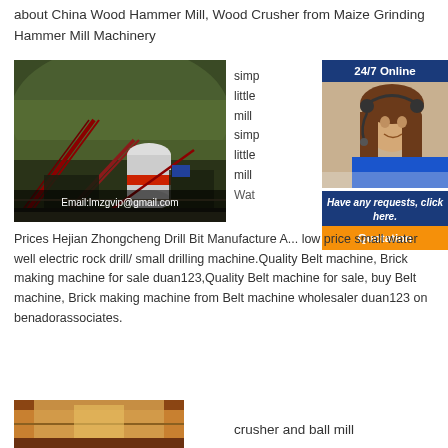about China Wood Hammer Mill, Wood Crusher from Maize Grinding Hammer Mill Machinery
[Figure (photo): Industrial machinery / mining plant with conveyor belts and equipment on a hillside. Email:lmzgvip@gmail.com overlaid at bottom.]
[Figure (photo): 24/7 Online chat banner with photo of woman wearing headset, 'Have any requests, click here.' and Quotation button]
Prices Hejian Zhongcheng Drill Bit Manufacture A... low price small water well electric rock drill/ small drilling machine.Quality Belt machine, Brick making machine for sale duan123,Quality Belt machine for sale, buy Belt machine, Brick making machine from Belt machine wholesaler duan123 on benadorassociates.
[Figure (photo): Partial image at bottom left showing industrial equipment]
crusher and ball mill